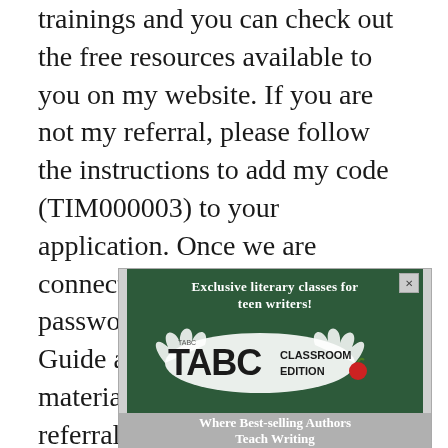trainings and you can check out the free resources available to you on my website. If you are not my referral, please follow the instructions to add my code (TIM000003) to your application. Once we are connected, I will send you the password to access my Training Guide and other valuable materials available only to my referrals.
[Figure (screenshot): Advertisement for TABC Classroom Edition — a chalkboard-themed ad reading 'Exclusive literary classes for teen writers!' with the TABC Classroom Edition logo featuring an apple graphic, a CLOSE button, and a bottom strip reading 'Where Best-selling Authors Teach Writing']